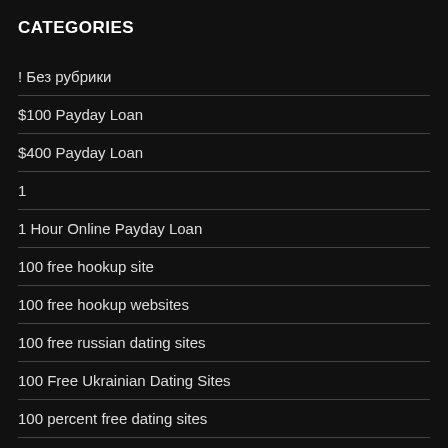CATEGORIES
! Без рубрики
$100 Payday Loan
$400 Payday Loan
1
1 Hour Online Payday Loan
100 free hookup site
100 free hookup websites
100 free russian dating sites
100 Free Ukrainian Dating Sites
100 percent free dating sites